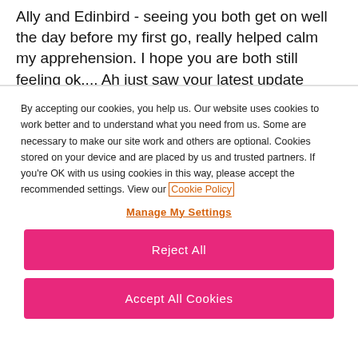Ally and Edinbird - seeing you both get on well the day before my first go, really helped calm my apprehension. I hope you are both still feeling ok.... Ah just saw your latest update Edinbird - I
By accepting our cookies, you help us. Our website uses cookies to work better and to understand what you need from us. Some are necessary to make our site work and others are optional. Cookies stored on your device and are placed by us and trusted partners. If you're OK with us using cookies in this way, please accept the recommended settings. View our Cookie Policy
Manage My Settings
Reject All
Accept All Cookies